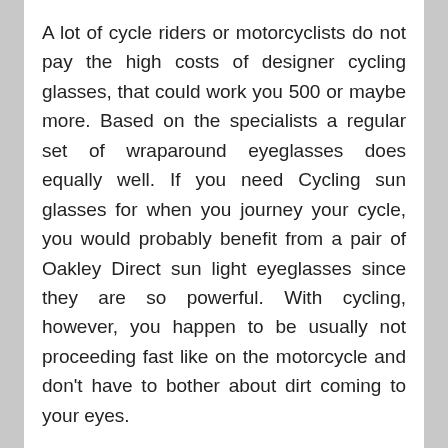A lot of cycle riders or motorcyclists do not pay the high costs of designer cycling glasses, that could work you 500 or maybe more. Based on the specialists a regular set of wraparound eyeglasses does equally well. If you need Cycling sun glasses for when you journey your cycle, you would probably benefit from a pair of Oakley Direct sun light eyeglasses since they are so powerful. With cycling, however, you happen to be usually not proceeding fast like on the motorcycle and don't have to bother about dirt coming to your eyes.
Several of the famous brands connected with bicycling sun glasses, as well as Oakley, consist of this kind of designer brand Cycling sunglasses as Bole, Rudy